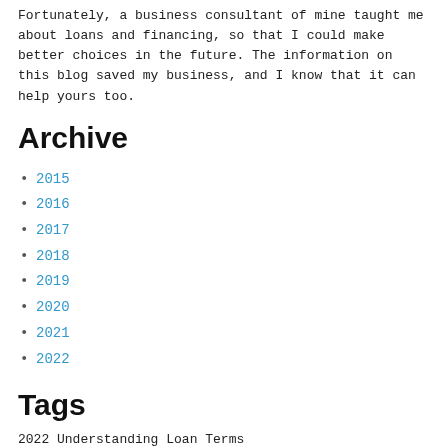Fortunately, a business consultant of mine taught me about loans and financing, so that I could make better choices in the future. The information on this blog saved my business, and I know that it can help yours too.
Archive
2015
2016
2017
2018
2019
2020
2021
2022
Tags
2022 Understanding Loan Terms